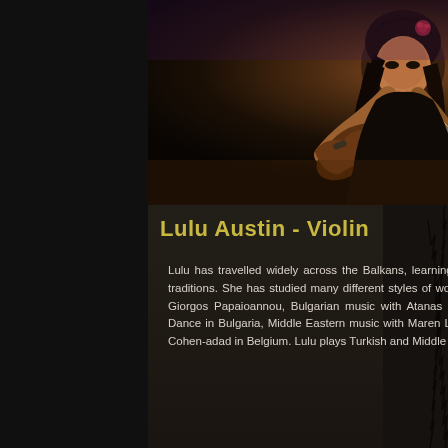[Figure (photo): Woman playing violin on stage with a red rose in her hair, dark concert lighting, microphone visible in background]
Lulu Austin - Violin
Lulu has travelled widely across the Balkans, learning Eastern music first hand from masters of the traditions. She has studied many different styles of world music, including Turkish music in Crete with Giorgos Papaioannou, Bulgarian music with Atanas Slavov at The Plovdiv Academy of Music and Dance in Bulgaria, Middle Eastern music with Maren Lueg in Turkey, and Klezmer music with Arianne Cohen-adad in Belgium. Lulu plays Turkish and Middle eastern music with music and